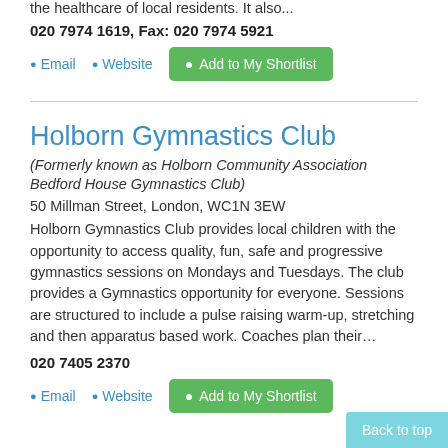the healthcare of local residents. It also...
020 7974 1619, Fax: 020 7974 5921
Email  Website  Add to My Shortlist
Holborn Gymnastics Club
(Formerly known as Holborn Community Association Bedford House Gymnastics Club)
50 Millman Street, London, WC1N 3EW
Holborn Gymnastics Club provides local children with the opportunity to access quality, fun, safe and progressive gymnastics sessions on Mondays and Tuesdays. The club provides a Gymnastics opportunity for everyone. Sessions are structured to include a pulse raising warm-up, stretching and then apparatus based work. Coaches plan their…
020 7405 2370
Email  Website  Add to My Shortlist
Back to top